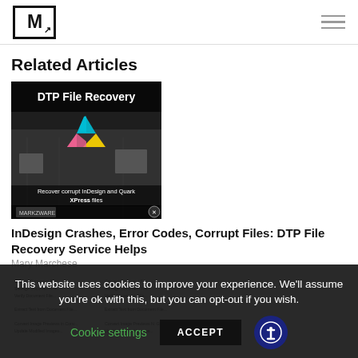[M] logo and hamburger menu
Related Articles
[Figure (screenshot): DTP File Recovery thumbnail image showing recycling arrows logo with text 'DTP File Recovery' and 'Recover corrupt InDesign and QuarkXPress files']
InDesign Crashes, Error Codes, Corrupt Files: DTP File Recovery Service Helps
Mary Marchese
[Figure (screenshot): Two small article thumbnails showing menu items like 'Convert Document File...', 'Salvage Document File...', 'Verify Document File...' etc.]
This website uses cookies to improve your experience. We'll assume you're ok with this, but you can opt-out if you wish.
Cookie settings
ACCEPT